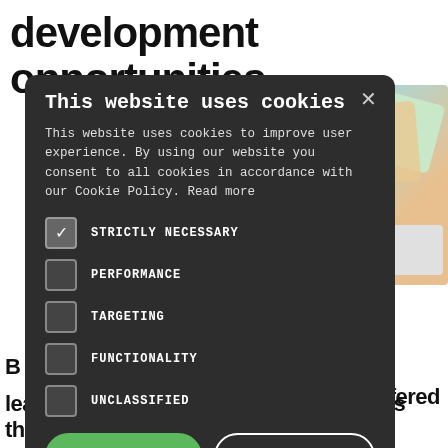development opportunities
[Figure (photo): Background photo of decorative food items (crackers/cookies) on a teal/turquoise background with a fork, partially obscured by the cookie consent modal]
[Figure (screenshot): Cookie consent modal dialog with dark background. Title: 'This website uses cookies'. Body text about cookie usage and consent. Checkboxes for: STRICTLY NECESSARY (checked), PERFORMANCE (unchecked), TARGETING (unchecked), FUNCTIONALITY (unchecked), UNCLASSIFIED (unchecked). Buttons: ACCEPT ALL (green), DECLINE ALL (outlined). Show Details link at bottom.]
offered
learning and development opportunities than their